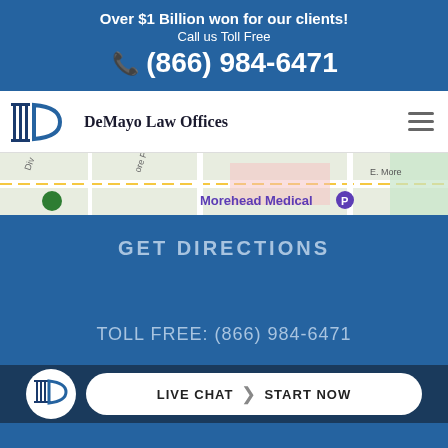Over $1 Billion won for our clients!
Call us Toll Free
(866) 984-6471
[Figure (logo): DeMayo Law Offices logo with columns and D shape]
DeMayo Law Offices
[Figure (map): Street map showing Morehead Medical area]
GET DIRECTIONS
TOLL FREE: (866) 984-6471
[Figure (logo): DeMayo Law Offices circular logo in bottom bar]
LIVE CHAT | START NOW